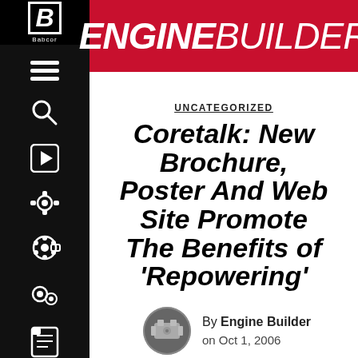ENGINE BUILDER
UNCATEGORIZED
Coretalk: New Brochure, Poster And Web Site Promote The Benefits of ‘Repowering’
By Engine Builder on Oct 1, 2006
Limited quantities of the “Serious Engine